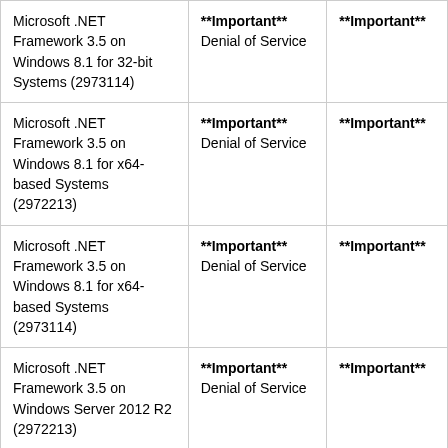| Microsoft .NET Framework 3.5 on Windows 8.1 for 32-bit Systems (2973114) | **Important** Denial of Service | **Important** |
| Microsoft .NET Framework 3.5 on Windows 8.1 for x64-based Systems (2972213) | **Important** Denial of Service | **Important** |
| Microsoft .NET Framework 3.5 on Windows 8.1 for x64-based Systems (2973114) | **Important** Denial of Service | **Important** |
| Microsoft .NET Framework 3.5 on Windows Server 2012 R2 (2972213) | **Important** Denial of Service | **Important** |
| Microsoft .NET... | **Important**... | **Important**... |